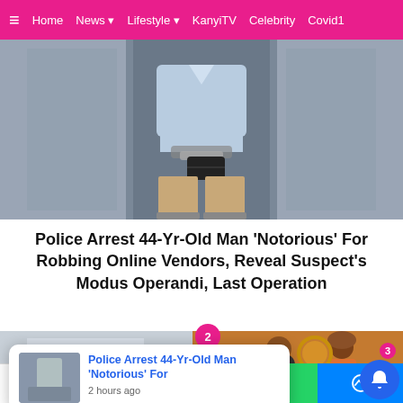≡  Home  News ▾  Lifestyle ▾  KanyiTV  Celebrity  Covid1
[Figure (photo): Person in handcuffs wearing light blue shirt and khaki pants, standing against a grey wall, holding a black wallet]
Police Arrest 44-Yr-Old Man 'Notorious' For Robbing Online Vendors, Reveal Suspect's Modus Operandi, Last Operation
[Figure (photo): Composite image: left half shows a multi-storey building exterior (grey/white), right half shows a man and woman in traditional Nigerian attire posing together. A pink badge with '2' and a black X button overlay the image. A notification popup shows a thumbnail of the arrested man with text 'Police Arrest 44-Yr-Old Man Notorious For' and '2 hours ago'.]
Shares  [Facebook]  [Twitter]  [WhatsApp]  [Messenger]